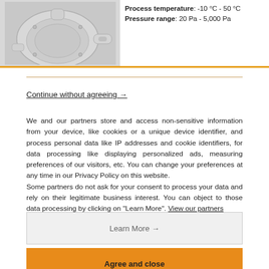[Figure (photo): Photo of a grey circular pressure/differential pressure sensor/transmitter device with a cable gland connection]
Process temperature: -10 °C - 50 °C
Pressure range: 20 Pa - 5,000 Pa
Continue without agreeing →
We and our partners store and access non-sensitive information from your device, like cookies or a unique device identifier, and process personal data like IP addresses and cookie identifiers, for data processing like displaying personalized ads, measuring preferences of our visitors, etc. You can change your preferences at any time in our Privacy Policy on this website.
Some partners do not ask for your consent to process your data and rely on their legitimate business interest. You can object to those data processing by clicking on "Learn More". View our partners
Learn More →
Agree and close